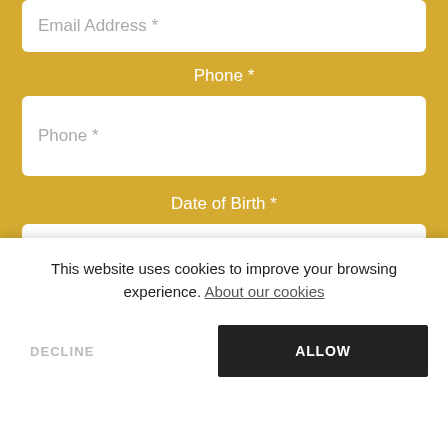Email Address *
Phone *
Phone *
Date of Birth *
Your Issue
---
This website uses cookies to improve your browsing experience. About our cookies
DECLINE
ALLOW